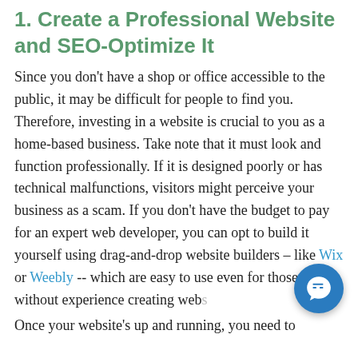1. Create a Professional Website and SEO-Optimize It
Since you don't have a shop or office accessible to the public, it may be difficult for people to find you. Therefore, investing in a website is crucial to you as a home-based business. Take note that it must look and function professionally. If it is designed poorly or has technical malfunctions, visitors might perceive your business as a scam. If you don't have the budget to pay for an expert web developer, you can opt to build it yourself using drag-and-drop website builders – like Wix or Weebly -- which are easy to use even for those without experience creating webs...
Once your website's up and running, you need to